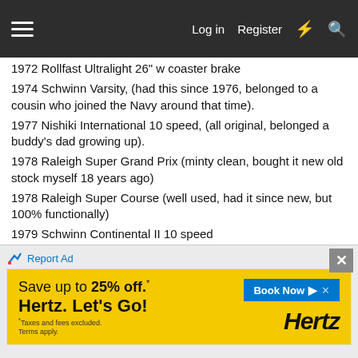Navigation bar with hamburger menu, Log in, Register, and icons
1972 Rollfast Ultralight 26" w coaster brake
1974 Schwinn Varsity, (had this since 1976, belonged to a cousin who joined the Navy around that time).
1977 Nishiki International 10 speed, (all original, belonged a buddy's dad growing up).
1978 Raleigh Super Grand Prix (minty clean, bought it new old stock myself 18 years ago)
1978 Raleigh Super Course (well used, had it since new, but 100% functionally)
1979 Schwinn Continental II 10 speed
1980 Nishiki Custom Sport 12 speed, (bought it new in 1980 and used it alot back then but not lately)
1980 Ross Grand Tour 10 speed
1985 Raleigh Grand Mesa MTB
1985 Nishiki Pacific Cruiser.
Plus four or five in the process of going together or getting
[Figure (screenshot): Advertisement banner: Save up to 25% off. Hertz. Let's Go! Book Now button and Hertz logo on yellow background.]